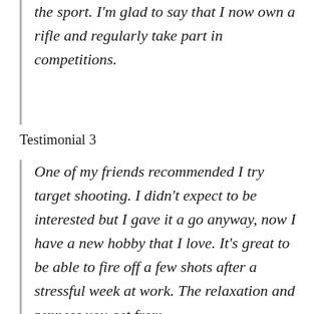the sport. I'm glad to say that I now own a rifle and regularly take part in competitions.
Testimonial 3
One of my friends recommended I try target shooting. I didn't expect to be interested but I gave it a go anyway, now I have a new hobby that I love. It's great to be able to fire off a few shots after a stressful week at work. The relaxation and zenness you get from